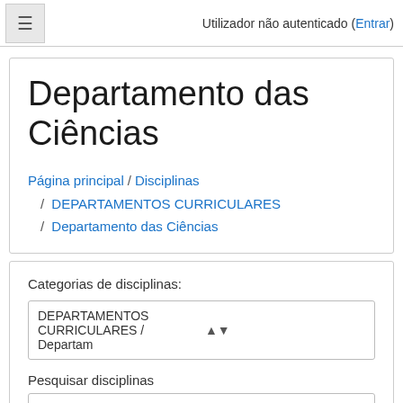Utilizador não autenticado (Entrar)
Departamento das Ciências
Página principal / Disciplinas / DEPARTAMENTOS CURRICULARES / Departamento das Ciências
Categorias de disciplinas:
DEPARTAMENTOS CURRICULARES / Departam
Pesquisar disciplinas